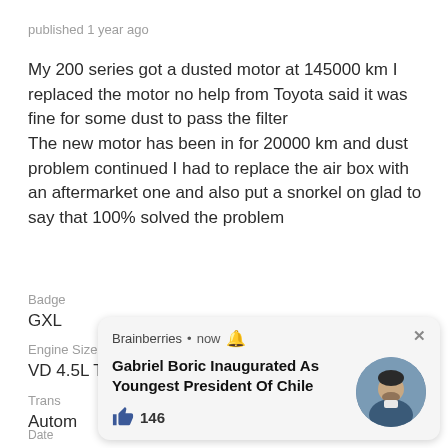published 1 year ago
My 200 series got a dusted motor at 145000 km I replaced the motor no help from Toyota said it was fine for some dust to pass the filter
The new motor has been in for 20000 km and dust problem continued I had to replace the air box with an aftermarket one and also put a snorkel on glad to say that 100% solved the problem
Badge
GXL
Engine Size
VD 4.5L Twin Turbo V8 Diesel
Trans
Autom
Date
Dec 2
[Figure (screenshot): Browser notification popup from Brainberries showing 'Gabriel Boric Inaugurated As Youngest President Of Chile' with 146 likes and a circular photo of a man in a suit, with a close button]